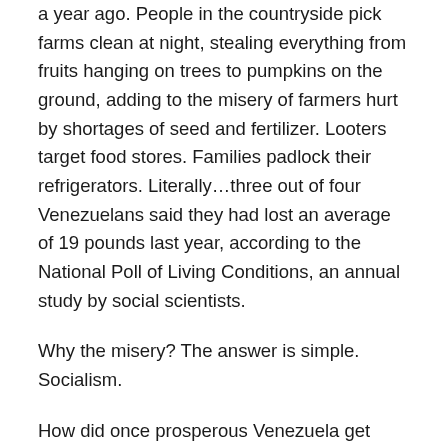a year ago. People in the countryside pick farms clean at night, stealing everything from fruits hanging on trees to pumpkins on the ground, adding to the misery of farmers hurt by shortages of seed and fertilizer. Looters target food stores. Families padlock their refrigerators. Literally…three out of four Venezuelans said they had lost an average of 19 pounds last year, according to the National Poll of Living Conditions, an annual study by social scientists.
Why the misery? The answer is simple. Socialism.
How did once prosperous Venezuela get here? Venezuela turned to socialism in 1998 when Hugo Chavez was elected president. The following year Chavez passed laws redistributing land and wealth, which he followed in 2005 with a land reform decree that would eliminate larger estates to the benefit of the poor in rural areas. In 2007 the government took control of important oil...